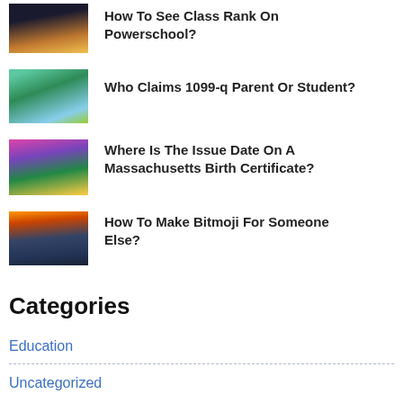How To See Class Rank On Powerschool?
Who Claims 1099-q Parent Or Student?
Where Is The Issue Date On A Massachusetts Birth Certificate?
How To Make Bitmoji For Someone Else?
Categories
Education
Uncategorized